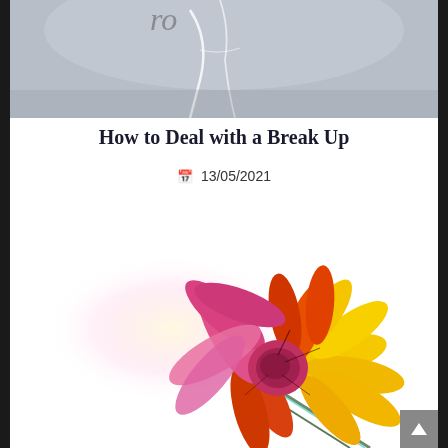[Figure (photo): Top portion of a photo showing cracked or broken transparent/glass material on a grey surface, partially visible]
How to Deal with a Break Up
📅 13/05/2021
[Figure (photo): A colorful daisy/gerbera flower with vivid red, orange, yellow, and pink petals on a white background, with a long stem extending to the lower right]